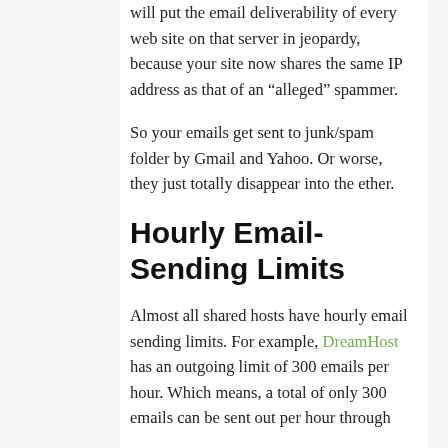will put the email deliverability of every web site on that server in jeopardy, because your site now shares the same IP address as that of an “alleged” spammer.
So your emails get sent to junk/spam folder by Gmail and Yahoo. Or worse, they just totally disappear into the ether.
Hourly Email-Sending Limits
Almost all shared hosts have hourly email sending limits. For example, DreamHost has an outgoing limit of 300 emails per hour. Which means, a total of only 300 emails can be sent out per hour through